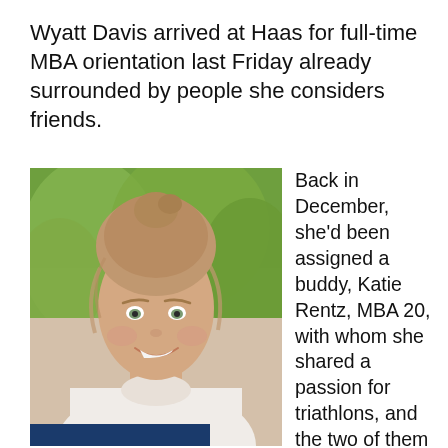Wyatt Davis arrived at Haas for full-time MBA orientation last Friday already surrounded by people she considers friends.
[Figure (photo): Headshot of a young woman with her hair in a bun, smiling outdoors in front of green trees, wearing a white shirt. A dark navy bar is partially visible at the bottom of the photo.]
Back in December, she'd been assigned a buddy, Katie Rentz, MBA 20, with whom she shared a passion for triathlons, and the two of them hit it off immediately. By the time Davis visited for admit weekend, she had met so many